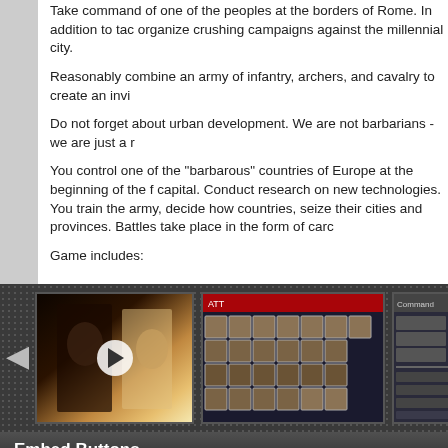Take command of one of the peoples at the borders of Rome. In addition to tac organize crushing campaigns against the millennial city.
Reasonably combine an army of infantry, archers, and cavalry to create an invi
Do not forget about urban development. We are not barbarians - we are just a
You control one of the "barbarous" countries of Europe at the beginning of the f capital. Conduct research on new technologies. You train the army, decide how countries, seize their cities and provinces. Battles take place in the form of car
Game includes:
[Figure (screenshot): Video thumbnail with play button showing game characters]
[Figure (screenshot): Game screenshot showing unit selection grid with barbarian units]
[Figure (screenshot): Game screenshot showing game interface/menu]
Embed Buttons
To promote Last Day of Rome and grow its popularity (top games), use the emb homepage, blog, forums and elsewhere you desire. Or try our widget.